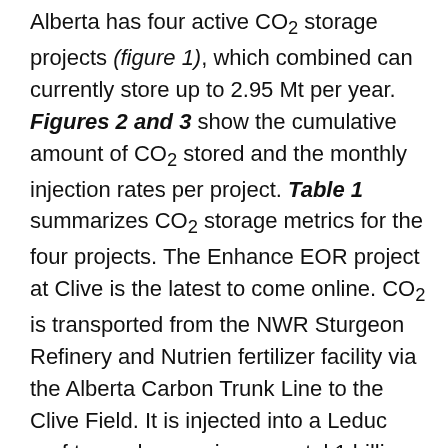Alberta has four active CO2 storage projects (figure 1), which combined can currently store up to 2.95 Mt per year. Figures 2 and 3 show the cumulative amount of CO2 stored and the monthly injection rates per project. Table 1 summarizes CO2 storage metrics for the four projects. The Enhance EOR project at Clive is the latest to come online. CO2 is transported from the NWR Sturgeon Refinery and Nutrien fertilizer facility via the Alberta Carbon Trunk Line to the Clive Field. It is injected into a Leduc reef to produce an incremental 1 billion bbls of oil, which is 20–25% of the original oil-in-place. At present up to 1.7 Mt per year of CO2 can be injected (Enhance, 2021). Win-win! Shell's Quest project at Thorhild/Radway, which stores CO2 emitted from the Scotford Upgrader near Fort Saskatchewan, began operations in 2015. The target zone is the Basal Cambrian sandstone. About 1.1 Mt tonnes can be stored per year (AB Govt, 2021). The Joffre and Chigwell EOR projects have been operational for years. Both schemes target the Viking